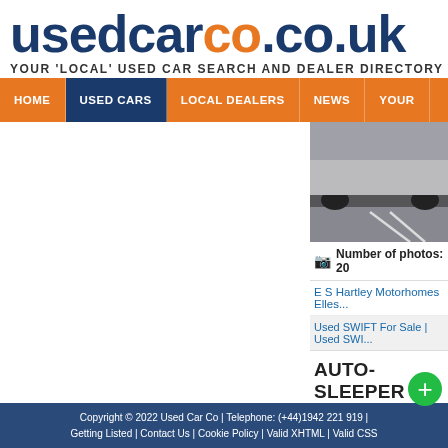usedcarco.co.uk
YOUR 'LOCAL' USED CAR SEARCH AND DEALER DIRECTORY
HOME | USED CARS | LOCAL DEALERS | NEWS | YOUR
[Figure (photo): Partial photo of a motorhome or vehicle in a car park]
Number of photos: 20
E S Hartley Motorhomes Elles...
Used SWIFT For Sale | Used SWI...
AUTO-SLEEPER WIN...
LUXURY MOTORHO...
Copyright © 2022 Used Car Co | Telephone: (+44)1942 221 919 | Getting Listed | Contact Us | Cookie Policy | Valid XHTML | Valid CSS